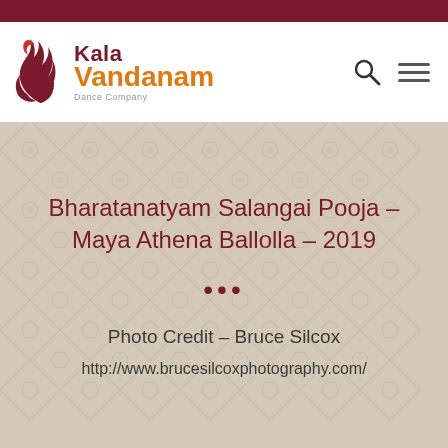[Figure (logo): Kala Vandanam Dance Company logo with stylized dancer/flame icon in red and orange]
Bharatanatyam Salangai Pooja – Maya Athena Ballolla – 2019
...
Photo Credit – Bruce Silcox
http://www.brucesilcoxphotography.com/